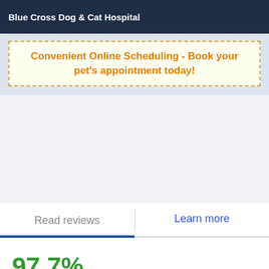Blue Cross Dog & Cat Hospital
Convenient Online Scheduling - Book your pet's appointment today!
[Figure (screenshot): Gray/blue empty content area placeholder]
Read reviews
Learn more
97.7%